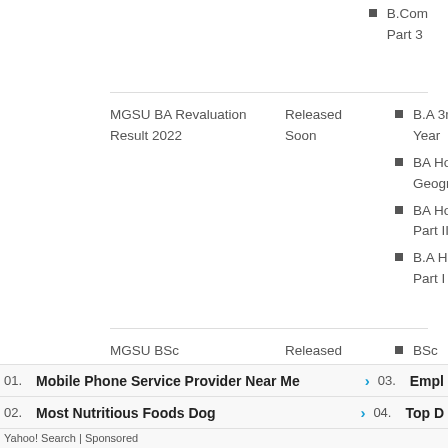B.Com Part 3
| Title | Status | Programs |
| --- | --- | --- |
| MGSU BA Revaluation Result 2022 | Released Soon | B.A 3rd Year | BA Hons Geography | BA Hons Part II | B.A Hons Part I |
| MGSU BSc Revaluation Result 2022 | Released Soon | BSc Additional | BSc Part III |
Search for
01. Mobile Phone Service Provider Near Me
02. Most Nutritious Foods Dog
03. Empl
04. Top D
Yahoo! Search | Sponsored